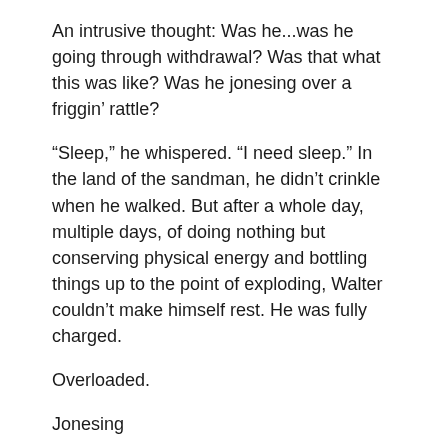An intrusive thought: Was he...was he going through withdrawal?  Was that what this was like?  Was he jonesing over a friggin’ rattle?
“Sleep,” he whispered.  “I need sleep.” In the land of the sandman, he didn’t crinkle when he walked.  But after a whole day, multiple days, of doing nothing but conserving physical energy and bottling things up to the point of exploding, Walter couldn’t make himself rest.  He was fully charged.
Overloaded.
Jonesing
“I need to…” he whispered to himself.  “I need to...I need to….fuck!”
He was kind of right.  He needed that release of